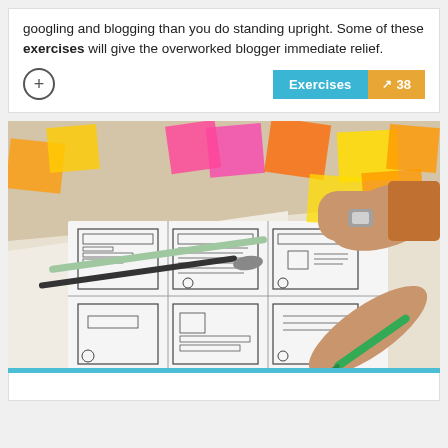googling and blogging than you do standing upright. Some of these exercises will give the overworked blogger immediate relief.
[Figure (other): Two buttons: a cyan 'Exercises' tag and an orange tag showing a trending-up arrow and the number 38, plus a circle-plus icon on the left]
[Figure (photo): A person's hands working over a large paper wireframe sketch on a desk covered with colorful sticky notes (pink, orange, yellow), pens, and markers. The wireframe shows multiple UI layout sketches.]